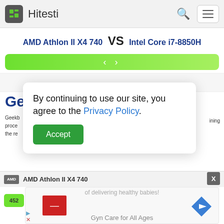Hitesti
AMD Athlon II X4 740 VS Intel Core i7-8850H
By continuing to use our site, you agree to the Privacy Policy.
Accept
Gee
AMD Athlon II X4 740
452
of delivering healthy babies!
Gyn Care for All Ages